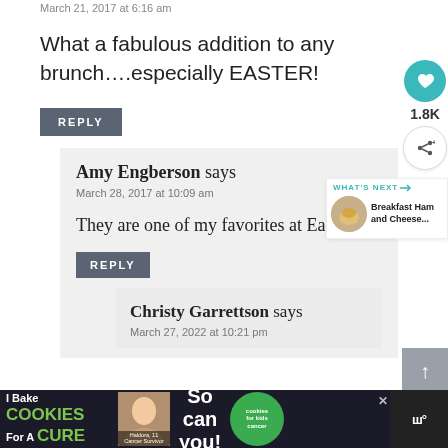March 21, 2017 at 6:16 am
What a fabulous addition to any brunch….especially EASTER!
REPLY
Amy Engberson says
March 28, 2017 at 10:09 am
They are one of my favorites at Easter!
REPLY
Christy Garrettson says
March 27, 2022 at 10:21 pm
[Figure (infographic): I Bake Cookies For A Cure advertisement banner with photo of child and cookies for kids cancer logo]